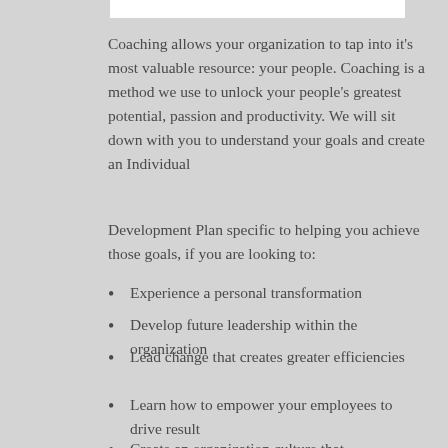Coaching allows your organization to tap into it's most valuable resource: your people. Coaching is a method we use to unlock your people's greatest potential, passion and productivity. We will sit down with you to understand your goals and create an Individual
Development Plan specific to helping you achieve those goals, if you are looking to:
Experience a personal transformation
Develop future leadership within the organization
Lead change that creates greater efficiencies
Learn how to empower your employees to drive result
Create an organization culture that...